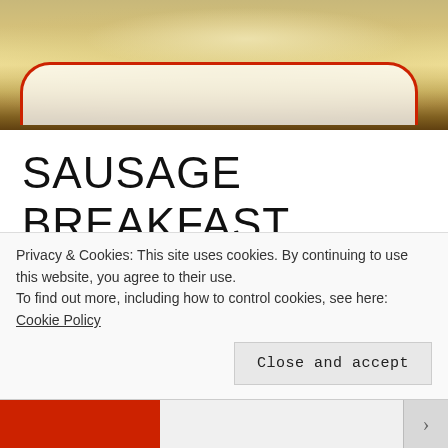[Figure (photo): Close-up photo of a casserole dish with white and red rim containing a baked breakfast casserole]
SAUSAGE BREAKFAST CASSEROLE
Sometimes I wonder if I'm the only one in the DC metro area who doesn't love brunch. It's not that I hate brunch — really, I don't — I just don't see what the big deal is.
Whenever I go out for brunch, I can't shake the feeling I'm being
Privacy & Cookies: This site uses cookies. By continuing to use this website, you agree to their use.
To find out more, including how to control cookies, see here: Cookie Policy
Close and accept